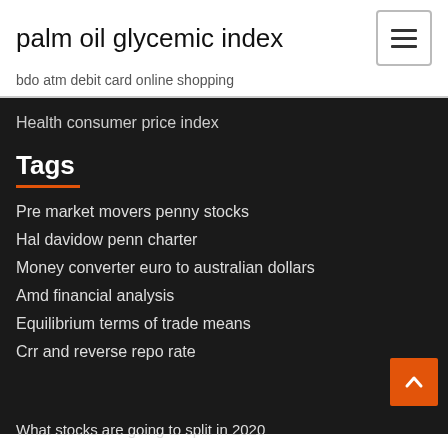palm oil glycemic index
bdo atm debit card online shopping
Health consumer price index
Tags
Pre market movers penny stocks
Hal davidow penn charter
Money converter euro to australian dollars
Amd financial analysis
Equilibrium terms of trade means
Crr and reverse repo rate
What stocks are going to split in 2020